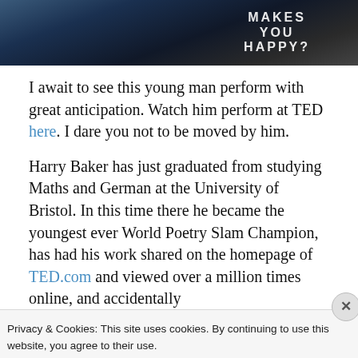[Figure (photo): Top portion of a photo showing a person on stage wearing a dark t-shirt with text 'WHAT MAKES YOU HAPPY?' visible]
I await to see this young man perform with great anticipation. Watch him perform at TED here. I dare you not to be moved by him.
Harry Baker has just graduated from studying Maths and German at the University of Bristol. In this time there he became the youngest ever World Poetry Slam Champion, has had his work shared on the homepage of TED.com and viewed over a million times online, and accidentally
Privacy & Cookies: This site uses cookies. By continuing to use this website, you agree to their use.
To find out more, including how to control cookies, see here: Cookie Policy
Close and accept